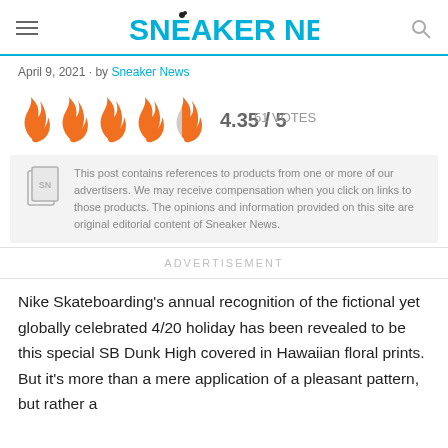SNEAKER NEWS
April 9, 2021 · by Sneaker News
[Figure (infographic): 5 flame icons rating: 4 full orange flames and 1 half orange/half grey flame, showing a rating of 4.35 out of 5 with 51 votes]
This post contains references to products from one or more of our advertisers. We may receive compensation when you click on links to those products. The opinions and information provided on this site are original editorial content of Sneaker News.
ADVERTISEMENT
Nike Skateboarding's annual recognition of the fictional yet globally celebrated 4/20 holiday has been revealed to be this special SB Dunk High covered in Hawaiian floral prints. But it's more than a mere application of a pleasant pattern, but rather a